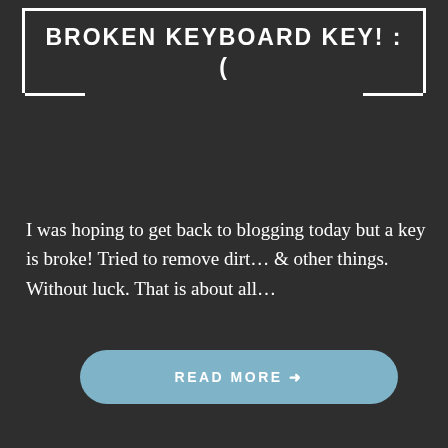BROKEN KEYBOARD KEY! : (
I was hoping to get back to blogging today but a key is broke! Tried to remove dirt… & other things. Without luck. That is about all…
READ MORE →